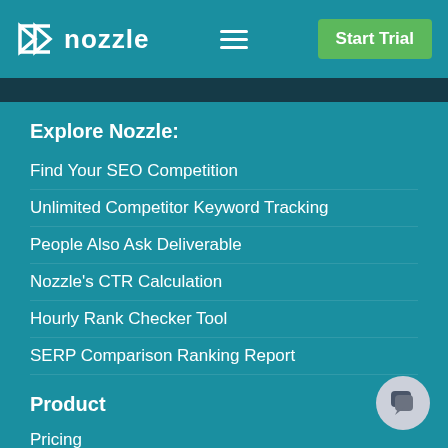nozzle — Start Trial
Explore Nozzle:
Find Your SEO Competition
Unlimited Competitor Keyword Tracking
People Also Ask Deliverable
Nozzle's CTR Calculation
Hourly Rank Checker Tool
SERP Comparison Ranking Report
Product
Pricing
Keyword Rank Checker